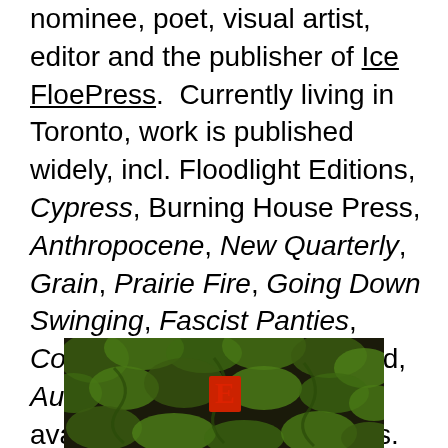nominee, poet, visual artist, editor and the publisher of Ice FloePress.  Currently living in Toronto, work is published widely, incl. Floodlight Editions, Cypress, Burning House Press, Anthropocene, New Quarterly, Grain, Prairie Fire, Going Down Swinging, Fascist Panties, Cough, Fevers Of. The hybrid, Audacity of Form (2019), is available from Ice Floe Press. Check out Robert's latest book “Eden” with Floodlight Editions.
[Figure (photo): Book cover of 'Eden' showing green foliage/plant imagery on a dark background with a red letter E in the center]